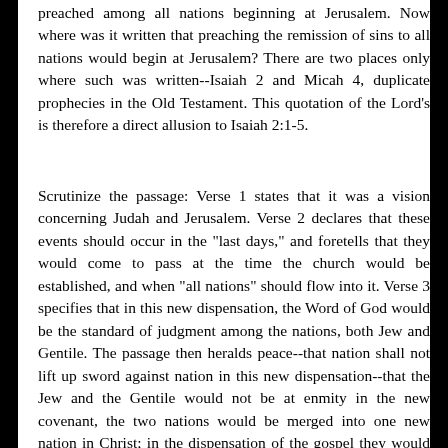preached among all nations beginning at Jerusalem. Now where was it written that preaching the remission of sins to all nations would begin at Jerusalem? There are two places only where such was written--Isaiah 2 and Micah 4, duplicate prophecies in the Old Testament. This quotation of the Lord's is therefore a direct allusion to Isaiah 2:1-5.
Scrutinize the passage: Verse 1 states that it was a vision concerning Judah and Jerusalem. Verse 2 declares that these events should occur in the "last days," and foretells that they would come to pass at the time the church would be established, and when "all nations" should flow into it. Verse 3 specifies that in this new dispensation, the Word of God would be the standard of judgment among the nations, both Jew and Gentile. The passage then heralds peace--that nation shall not lift up sword against nation in this new dispensation--that the Jew and the Gentile would not be at enmity in the new covenant, the two nations would be merged into one new nation in Christ; in the dispensation of the gospel they would be judged by the same law--the new covenant. The rivalry between the two